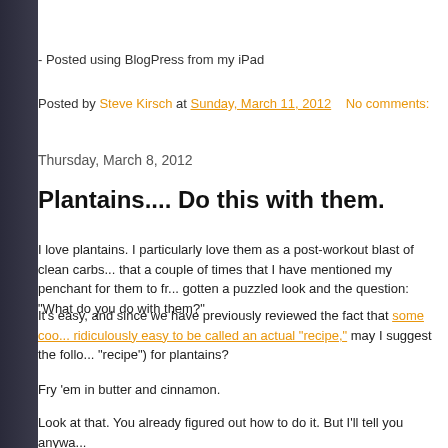- Posted using BlogPress from my iPad
Posted by Steve Kirsch at Sunday, March 11, 2012   No comments:
Thursday, March 8, 2012
Plantains.... Do this with them.
I love plantains. I particularly love them as a post-workout blast of clean carbs... that a couple of times that I have mentioned my penchant for them to fr... gotten a puzzled look and the question: "What do you do with them?"
It's easy, and since we have previously reviewed the fact that some coo... ridiculously easy to be called an actual "recipe," may I suggest the follo... "recipe") for plantains?
Fry 'em in butter and cinnamon.
Look at that. You already figured out how to do it. But I'll tell you anywa...
Buy a bunch of plantains. Around this neck of the woods, the ones at W...